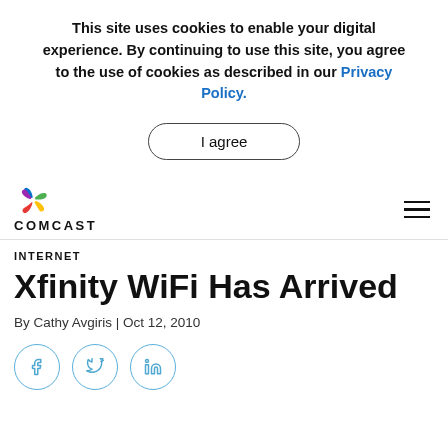This site uses cookies to enable your digital experience. By continuing to use this site, you agree to the use of cookies as described in our Privacy Policy.
I agree
[Figure (logo): Comcast NBC peacock logo with text COMCAST]
INTERNET
Xfinity WiFi Has Arrived
By Cathy Avgiris | Oct 12, 2010
[Figure (infographic): Social sharing icons: Facebook, Twitter, LinkedIn circular buttons]